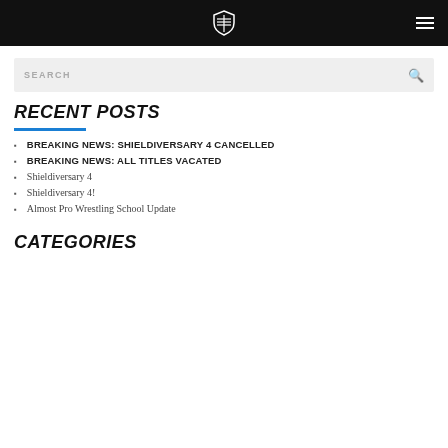Site header with logo and navigation menu
SEARCH
RECENT POSTS
BREAKING NEWS: SHIELDIVERSARY 4 CANCELLED
BREAKING NEWS: ALL TITLES VACATED
Shieldiversary 4
Shieldiversary 4!
Almost Pro Wrestling School Update
CATEGORIES